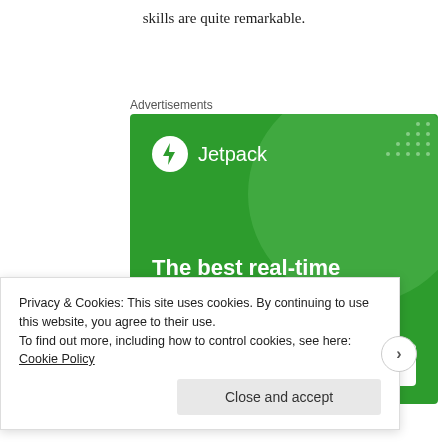skills are quite remarkable.
Advertisements
[Figure (illustration): Jetpack advertisement banner with green background showing Jetpack logo and text: 'The best real-time WordPress backup plugin' with a 'Back up your site' button]
Privacy & Cookies: This site uses cookies. By continuing to use this website, you agree to their use.
To find out more, including how to control cookies, see here: Cookie Policy
Close and accept